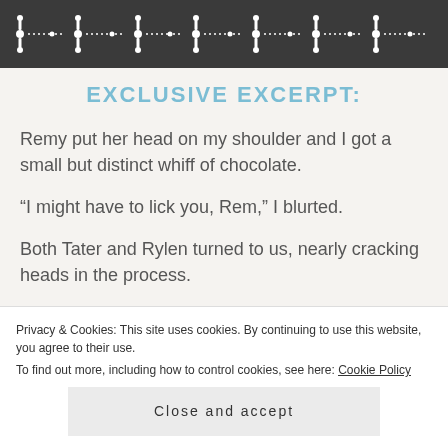[Figure (illustration): Dark decorative banner with repeating white ornamental cross/diamond pattern on dark gray/charcoal background]
EXCLUSIVE EXCERPT:
Remy put her head on my shoulder and I got a small but distinct whiff of chocolate.
“I might have to lick you, Rem,” I blurted.
Both Tater and Rylen turned to us, nearly cracking heads in the process.
Privacy & Cookies: This site uses cookies. By continuing to use this website, you agree to their use.
To find out more, including how to control cookies, see here: Cookie Policy
Close and accept